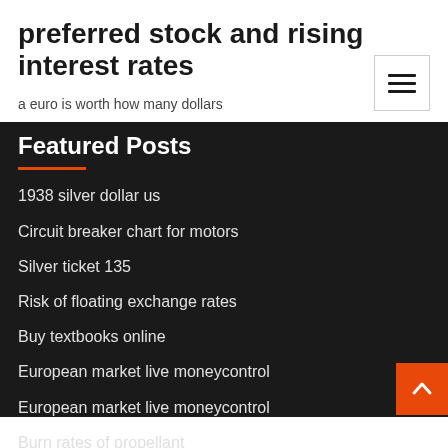preferred stock and rising interest rates
a euro is worth how many dollars
Featured Posts
1938 silver dollar us
Circuit breaker chart for motors
Silver ticket 135
Risk of floating exchange rates
Buy textbooks online
European market live moneycontrol
European market live moneycontrol
Burn rates of propellant